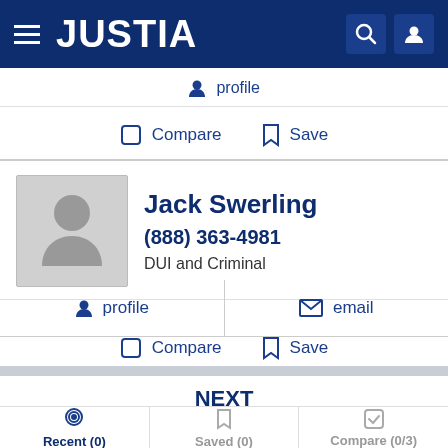JUSTIA
profile
Compare   Save
Jack Swerling
(888) 363-4981
DUI and Criminal
profile   email
Compare   Save
NEXT
Recent (0)   Saved (0)   Compare (0/3)